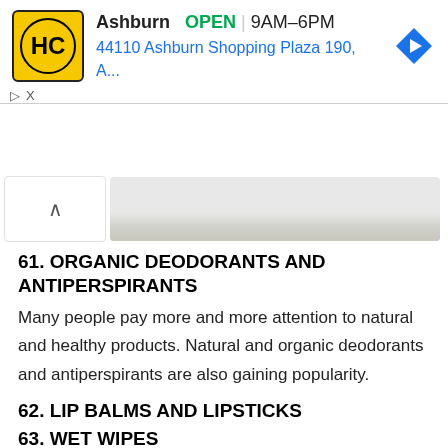[Figure (screenshot): Advertisement banner for HC store in Ashburn showing logo, open status (9AM-6PM), address (44110 Ashburn Shopping Plaza 190, A...), and navigation arrow icon. Includes play/close ad controls.]
[Figure (photo): Partial image of a hand holding a green object, shown as a cropped strip with a chevron-up navigation button on the left.]
61. ORGANIC DEODORANTS AND ANTIPERSPIRANTS
Many people pay more and more attention to natural and healthy products. Natural and organic deodorants and antiperspirants are also gaining popularity.
62. LIP BALMS AND LIPSTICKS
63. WET WIPES
64. DIAPERS AND BABY WIPES